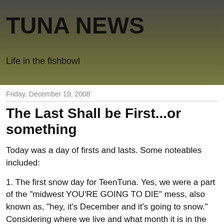TUNA NEWS
Life in the fishbowl
Friday, December 19, 2008
The Last Shall be First...or something
Today was a day of firsts and lasts. Some noteables included:
1. The first snow day for TeenTuna. Yes, we were a part of the "midwest YOU'RE GOING TO DIE" mess, also known as, "hey, it's December and it's going to snow." Considering where we live and what month it is in the year, none of this should be a big surprise, but no big surprise equals NO DRAMA, and in the life of a 14 year old, it's Dramady Central (as opposed to Dramidary Central, which is Camel TV) all